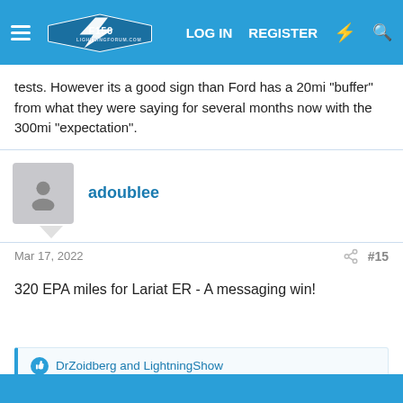F150 Lightning Forum | LOG IN | REGISTER
tests. However its a good sign than Ford has a 20mi "buffer" from what they were saying for several months now with the 300mi "expectation".
adoublee
Mar 17, 2022  #15
320 EPA miles for Lariat ER - A messaging win!
DrZoidberg and LightningShow